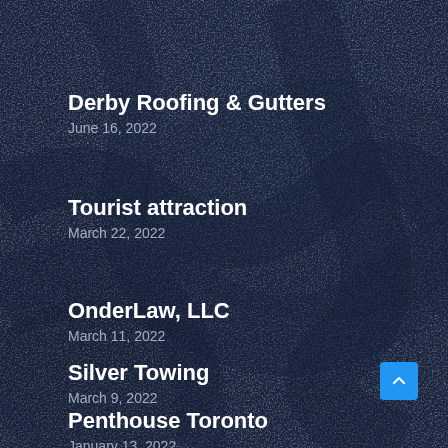Derby Roofing & Gutters
June 16, 2022
Tourist attraction
March 22, 2022
OnderLaw, LLC
March 11, 2022
Silver Towing
March 9, 2022
Penthouse Toronto
January 13, 2022